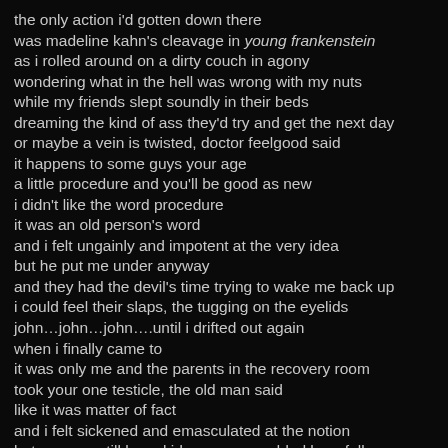the only action i'd gotten down there
was madeline kahn's cleavage in young frankenstein
as i rolled around on a dirty couch in agony
wondering what in the hell was wrong with my nuts
while my friends slept soundly in their beds
dreaming the kind of ass they'd try and get the next day
or maybe a vein is twisted, doctor feelgood said
it happens to some guys your age
a little procedure and you'll be good as new
i didn't like the word procedure
it was an old person's word
and i felt ungainly and impotent at the very idea
but he put me under anyway
and they had the devil's time trying to wake me back up
i could feel their slaps, the tugging on the eyelids
john…john…john….until i drifted out again
when i finally came to
it was only me and the parents in the recovery room
took your one testicle, the old man said
like it was matter of fact
and i felt sickened and emasculated at the notion
but you can still have kids, my mom added hopefully